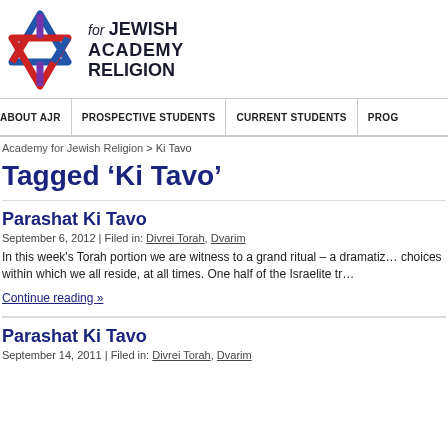[Figure (logo): Academy for Jewish Religion logo with interlocking star of David shape in red, blue, and purple, beside the organization name text]
ABOUT AJR | PROSPECTIVE STUDENTS | CURRENT STUDENTS | PROG
Academy for Jewish Religion > Ki Tavo
Tagged ‘Ki Tavo’
Parashat Ki Tavo
September 6, 2012 | Filed in: Divrei Torah, Dvarim
In this week's Torah portion we are witness to a grand ritual – a dramatiz… choices within which we all reside, at all times. One half of the Israelite tr…
Continue reading »
Parashat Ki Tavo
September 14, 2011 | Filed in: Divrei Torah, Dvarim